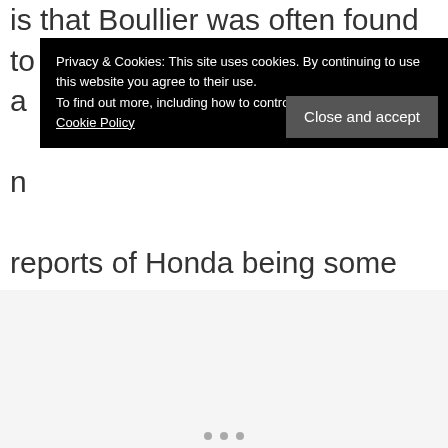is that Boullier was often found to be uttering similar a[...] n[...] reports of Honda being some six months behind schedule are actually true.
Privacy & Cookies: This site uses cookies. By continuing to use this website you agree to their use. To find out more, including how to control cookies, see here: Cookie Policy
Close and accept
[Figure (other): Gray content placeholder area with three navigation dots at the bottom]